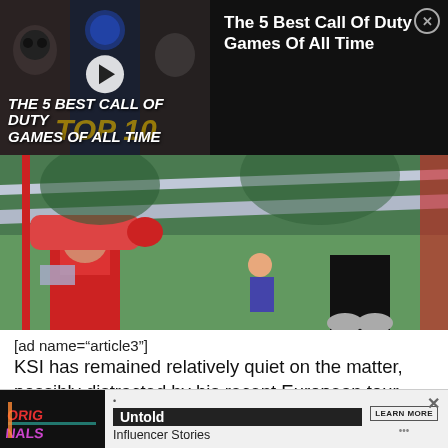[Figure (screenshot): Video overlay showing 'The 5 Best Call Of Duty Games Of All Time' with dark thumbnail on left and title text on dark background on right with close (X) button]
[Figure (photo): Boxing match photo showing fighters near the ropes of a ring outdoors]
[ad name="article3"]
KSI has remained relatively quiet on the matter, possibly distracted by his recent European tour.
Article continues after ad
[Figure (screenshot): Advertisement banner for 'Untold: Influencer Stories' with Originals logo on dark background and a Learn More button]